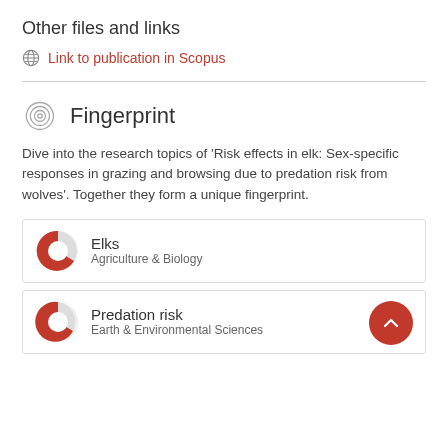Other files and links
Link to publication in Scopus
Fingerprint
Dive into the research topics of 'Risk effects in elk: Sex-specific responses in grazing and browsing due to predation risk from wolves'. Together they form a unique fingerprint.
Elks
Agriculture & Biology
Predation risk
Earth & Environmental Sciences